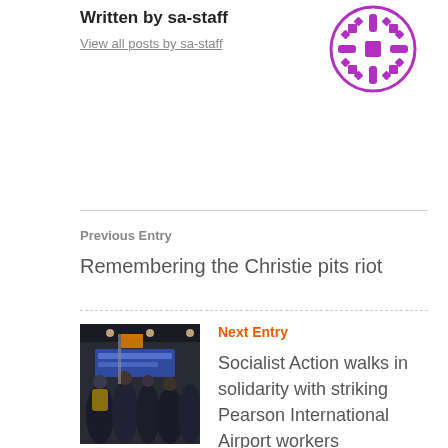Written by sa-staff
View all posts by sa-staff
[Figure (logo): Purple decorative snowflake/geometric logo mark]
Previous Entry
Remembering the Christie pits riot
Next Entry
[Figure (photo): Photo of crowd at protest or rally with banner, inside what appears to be an airport or transit station]
Socialist Action walks in solidarity with striking Pearson International Airport workers